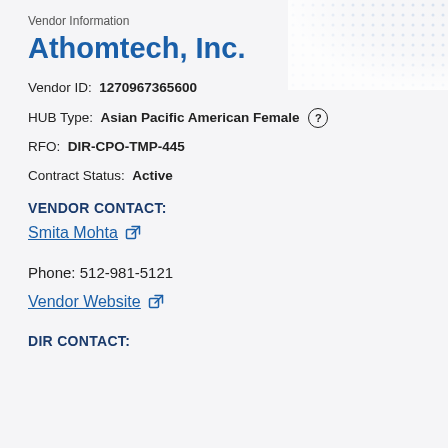Vendor Information
Athomtech, Inc.
Vendor ID: 1270967365600
HUB Type: Asian Pacific American Female
RFO: DIR-CPO-TMP-445
Contract Status: Active
VENDOR CONTACT:
Smita Mohta
Phone: 512-981-5121
Vendor Website
DIR CONTACT: